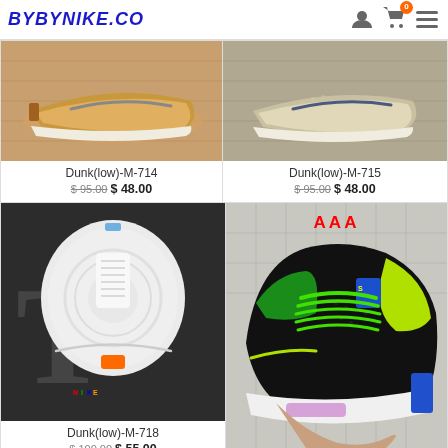BYBYNIKE.CO
[Figure (photo): Brown/tan Nike Dunk Low sneaker side view on wooden surface]
Dunk(low)-M-714
$ 95.00$ 48.00
[Figure (photo): Grey/cream Nike Dunk Low sneaker side view on wooden surface]
Dunk(low)-M-715
$ 95.00$ 48.00
[Figure (photo): White Nike Dunk Low sneaker with colorful details, top/bottom view]
Dunk(low)-M-718
$ 100.00$ 55.00
[Figure (photo): Black/green/neon Air Jordan 4 sneaker with Superman patch and green laces, labeled AAA]
Jordan 4(AAA)-M-185